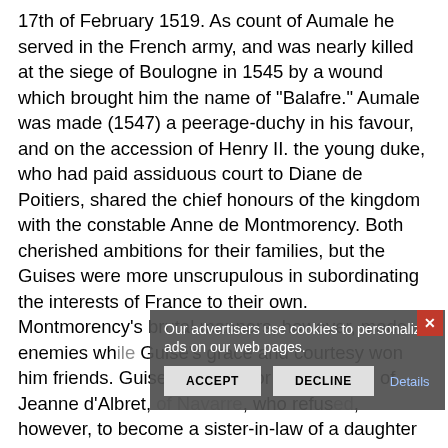17th of February 1519. As count of Aumale he served in the French army, and was nearly killed at the siege of Boulogne in 1545 by a wound which brought him the name of "Balafre." Aumale was made (1547) a peerage-duchy in his favour, and on the accession of Henry II. the young duke, who had paid assiduous court to Diane de Poitiers, shared the chief honours of the kingdom with the constable Anne de Montmorency. Both cherished ambitions for their families, but the Guises were more unscrupulous in subordinating the interests of France to their own. Montmorency's brutal manners, however, made enemies wh[ile] Guise's grace and courtesy won him friends. Guise was a suitor for the hand of Jeanne d'Albret, of [Navarre], who refus[ed], however, to become a sister-in-law of a daughter of Diane de Poitiers and remained one of the most dangerous and persistent enemies